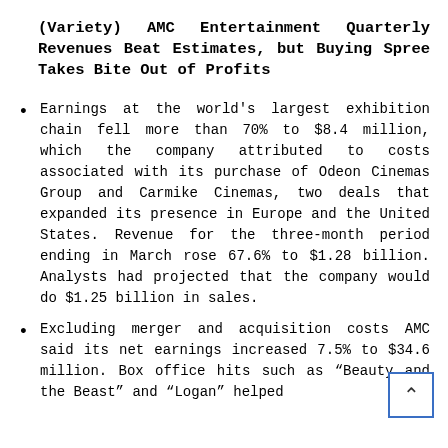(Variety) AMC Entertainment Quarterly Revenues Beat Estimates, but Buying Spree Takes Bite Out of Profits
Earnings at the world's largest exhibition chain fell more than 70% to $8.4 million, which the company attributed to costs associated with its purchase of Odeon Cinemas Group and Carmike Cinemas, two deals that expanded its presence in Europe and the United States. Revenue for the three-month period ending in March rose 67.6% to $1.28 billion. Analysts had projected that the company would do $1.25 billion in sales.
Excluding merger and acquisition costs AMC said its net earnings increased 7.5% to $34.6 million. Box office hits such as “Beauty and the Beast” and “Logan” helped